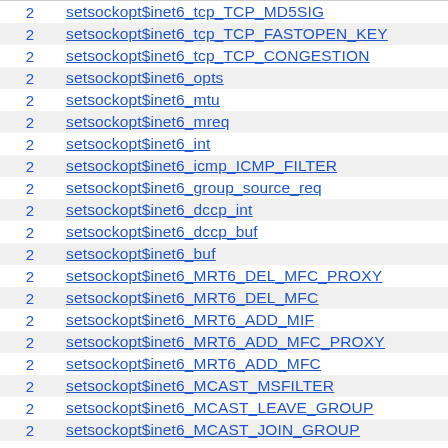|  |  |
| --- | --- |
| 2 | setsockopt$inet6_tcp_TCP_MD5SIG |
| 2 | setsockopt$inet6_tcp_TCP_FASTOPEN_KEY |
| 2 | setsockopt$inet6_tcp_TCP_CONGESTION |
| 2 | setsockopt$inet6_opts |
| 2 | setsockopt$inet6_mtu |
| 2 | setsockopt$inet6_mreq |
| 2 | setsockopt$inet6_int |
| 2 | setsockopt$inet6_icmp_ICMP_FILTER |
| 2 | setsockopt$inet6_group_source_req |
| 2 | setsockopt$inet6_dccp_int |
| 2 | setsockopt$inet6_dccp_buf |
| 2 | setsockopt$inet6_buf |
| 2 | setsockopt$inet6_MRT6_DEL_MFC_PROXY |
| 2 | setsockopt$inet6_MRT6_DEL_MFC |
| 2 | setsockopt$inet6_MRT6_ADD_MIF |
| 2 | setsockopt$inet6_MRT6_ADD_MFC_PROXY |
| 2 | setsockopt$inet6_MRT6_ADD_MFC |
| 2 | setsockopt$inet6_MCAST_MSFILTER |
| 2 | setsockopt$inet6_MCAST_LEAVE_GROUP |
| 2 | setsockopt$inet6_MCAST_JOIN_GROUP |